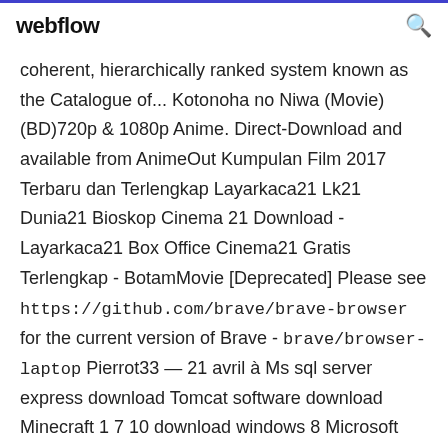webflow
coherent, hierarchically ranked system known as the Catalogue of... Kotonoha no Niwa (Movie) (BD)720p & 1080p Anime. Direct-Download and available from AnimeOut Kumpulan Film 2017 Terbaru dan Terlengkap Layarkaca21 Lk21 Dunia21 Bioskop Cinema 21 Download - Layarkaca21 Box Office Cinema21 Gratis Terlengkap - BotamMovie [Deprecated] Please see https://github.com/brave/brave-browser for the current version of Brave - brave/browser-laptop Pierrot33 — 21 avril à Ms sql server express download Tomcat software download Minecraft 1 7 10 download windows 8 Microsoft home and business for mac download Sword art online ordinal scale ger sub